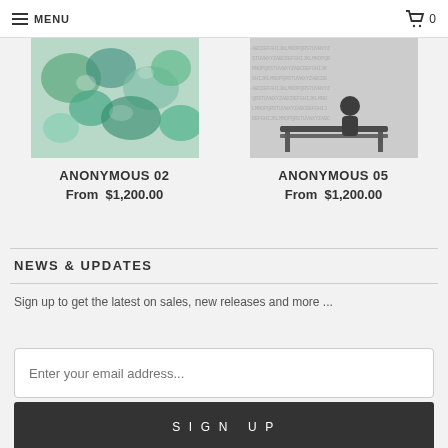MENU   🛒 0
[Figure (photo): Photo of decorative blue-green floral/nature artwork]
ANONYMOUS 02
From  $1,200.00
[Figure (photo): Black and white photo of a person sitting on a bench with text overlay]
ANONYMOUS 05
From  $1,200.00
NEWS & UPDATES
Sign up to get the latest on sales, new releases and more ...
Enter your email address...
SIGN UP